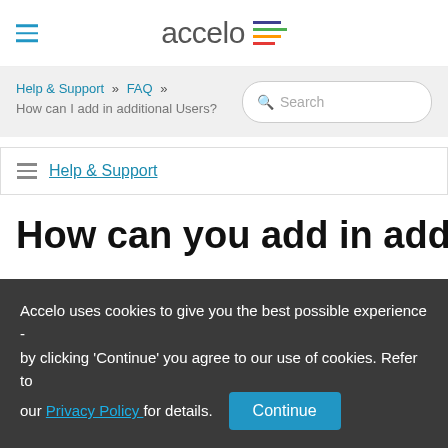accelo
Help & Support » FAQ » How can I add in additional Users?
Help & Support
How can you add in additional
Accelo uses cookies to give you the best possible experience - by clicking 'Continue' you agree to our use of cookies. Refer to our Privacy Policy for details.